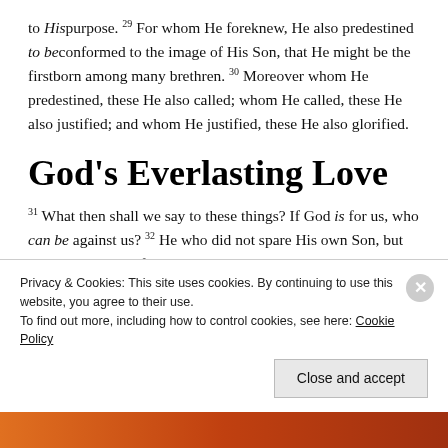to His purpose. 29 For whom He foreknew, He also predestined to be conformed to the image of His Son, that He might be the firstborn among many brethren. 30 Moreover whom He predestined, these He also called; whom He called, these He also justified; and whom He justified, these He also glorified.
God's Everlasting Love
31 What then shall we say to these things? If God is for us, who can be against us? 32 He who did not spare His own Son, but delivered Him up for us all, how shall He not with Him also freely give us all things? 33 Who shall bring a charge against God's elect? It is God who justifies. 34 Who is he who condemns? It is Christ who died
Privacy & Cookies: This site uses cookies. By continuing to use this website, you agree to their use.
To find out more, including how to control cookies, see here: Cookie Policy
Close and accept